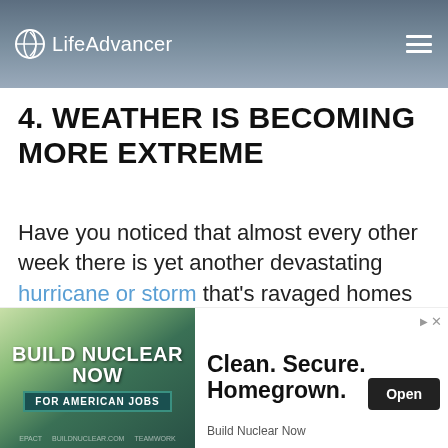LifeAdvancer
4. WEATHER IS BECOMING MORE EXTREME
Have you noticed that almost every other week there is yet another devastating hurricane or storm that's ravaged homes ... ke ... r is
By continuing to use this website, you consent to the use of cookies in accordance our Cookie Policy.
[Figure (screenshot): Advertisement banner: BUILD NUCLEAR NOW FOR AMERICAN JOBS | Clean. Secure. Homegrown. Build Nuclear Now | Open button]